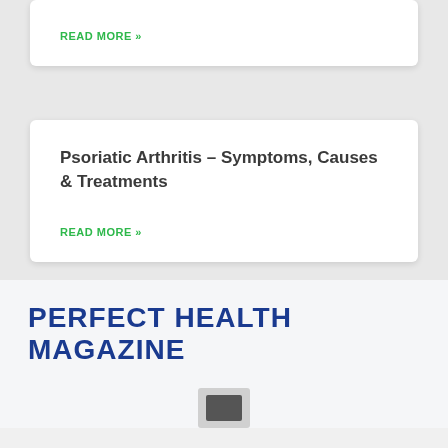READ MORE »
Psoriatic Arthritis – Symptoms, Causes & Treatments
READ MORE »
PERFECT HEALTH MAGAZINE
[Figure (photo): Small thumbnail image placeholder at the bottom of the page]